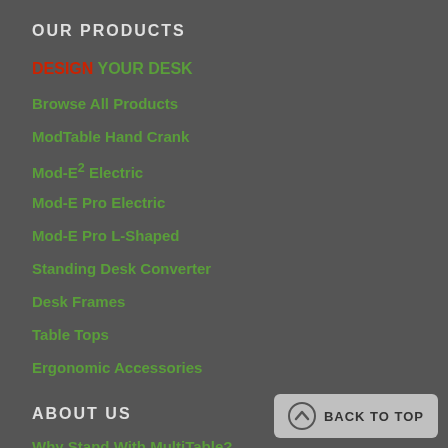OUR PRODUCTS
DESIGN YOUR DESK
Browse All Products
ModTable Hand Crank
Mod-E2 Electric
Mod-E Pro Electric
Mod-E Pro L-Shaped
Standing Desk Converter
Desk Frames
Table Tops
Ergonomic Accessories
ABOUT US
Why Stand With MultiTable?
Articles
Gallery
Videos
BACK TO TOP